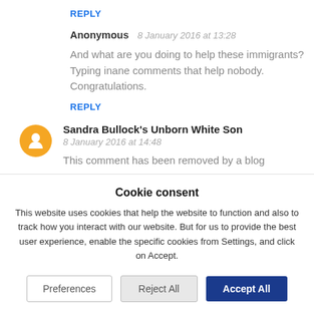REPLY
Anonymous  8 January 2016 at 13:28
And what are you doing to help these immigrants? Typing inane comments that help nobody. Congratulations.
REPLY
Sandra Bullock's Unborn White Son  8 January 2016 at 14:48
This comment has been removed by a blog administrator.
Cookie consent
This website uses cookies that help the website to function and also to track how you interact with our website. But for us to provide the best user experience, enable the specific cookies from Settings, and click on Accept.
Preferences
Reject All
Accept All